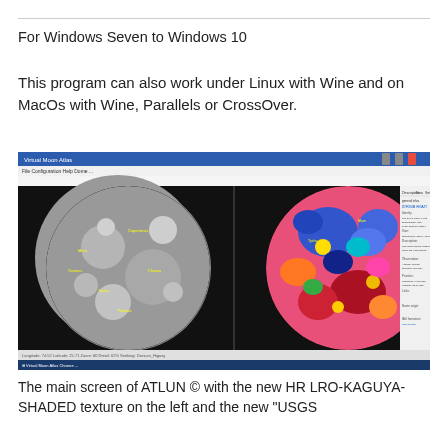For Windows Seven to Windows 10
This program can also work under Linux with Wine and on MacOs with Wine, Parallels or CrossOver.
[Figure (screenshot): Main screen of ATLUN software showing two views of the Moon: left view is a grayscale shaded relief map with yellow labels, right view is a colorful USGS geological map. A side panel on the right shows feature details. The window has a standard Windows application chrome with toolbar.]
The main screen of ATLUN © with the new HR LRO-KAGUYA-SHADED texture on the left and the new "USGS Geological" map on the right.